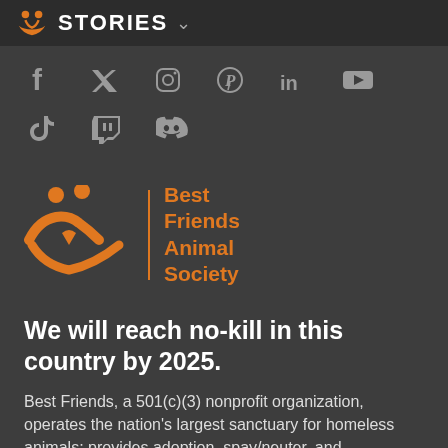STORIES
[Figure (logo): Social media icons: Facebook, Twitter, Instagram, Pinterest, LinkedIn, YouTube, TikTok, Twitch, Discord]
[Figure (logo): Best Friends Animal Society logo - orange animal figures with orange text on dark background]
We will reach no-kill in this country by 2025.
Best Friends, a 501(c)(3) nonprofit organization, operates the nation's largest sanctuary for homeless animals; provides adoption, spay/neuter, and